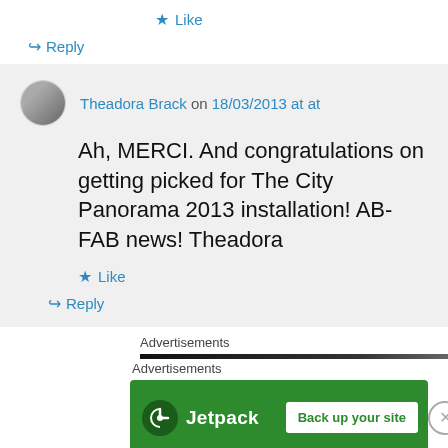★ Like
↪ Reply
Theadora Brack on 18/03/2013 at at
Ah, MERCI. And congratulations on getting picked for The City Panorama 2013 installation! AB-FAB news! Theadora
★ Like
↪ Reply
Advertisements
[Figure (other): Jetpack advertisement banner with logo and 'Back up your site' button]
Advertisements